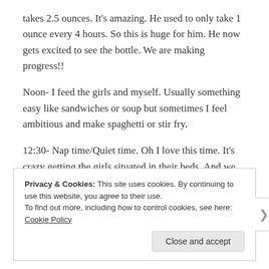takes 2.5 ounces. It's amazing. He used to only take 1 ounce every 4 hours. So this is huge for him. He now gets excited to see the bottle. We are making progress!!
Noon- I feed the girls and myself. Usually something easy like sandwiches or soup but sometimes I feel ambitious and make spaghetti or stir fry.
12:30- Nap time/Quiet time. Oh I love this time. It's crazy getting the girls situated in their beds. And we just switched Rae to a big girl bed so it'll be interesting to see if this time
Privacy & Cookies: This site uses cookies. By continuing to use this website, you agree to their use.
To find out more, including how to control cookies, see here: Cookie Policy
Close and accept